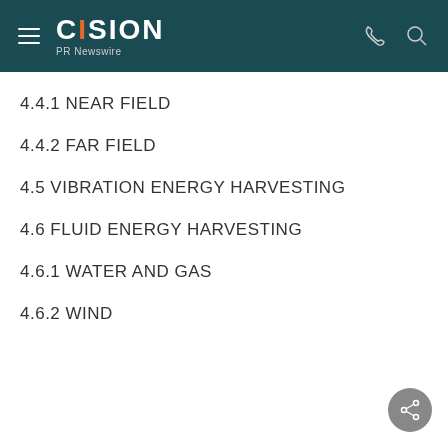CISION PR Newswire
4.4.1 NEAR FIELD
4.4.2 FAR FIELD
4.5 VIBRATION ENERGY HARVESTING
4.6 FLUID ENERGY HARVESTING
4.6.1 WATER AND GAS
4.6.2 WIND